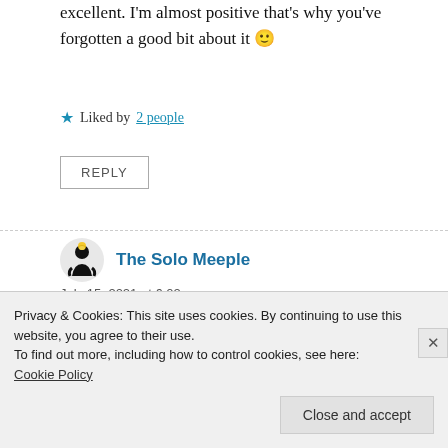excellent. I'm almost positive that's why you've forgotten a good bit about it 🙂
★ Liked by 2 people
REPLY
The Solo Meeple
July 15, 2021 at 6:02 pm
Each to their own, as they say.
I was brought up watching ye old black and
Privacy & Cookies: This site uses cookies. By continuing to use this website, you agree to their use.
To find out more, including how to control cookies, see here:
Cookie Policy
Close and accept